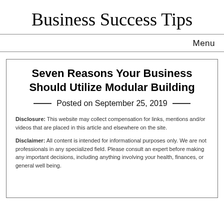Business Success Tips
Menu
Seven Reasons Your Business Should Utilize Modular Building
Posted on September 25, 2019
Disclosure: This website may collect compensation for links, mentions and/or videos that are placed in this article and elsewhere on the site.
Disclaimer: All content is intended for informational purposes only. We are not professionals in any specialized field. Please consult an expert before making any important decisions, including anything involving your health, finances, or general well being.